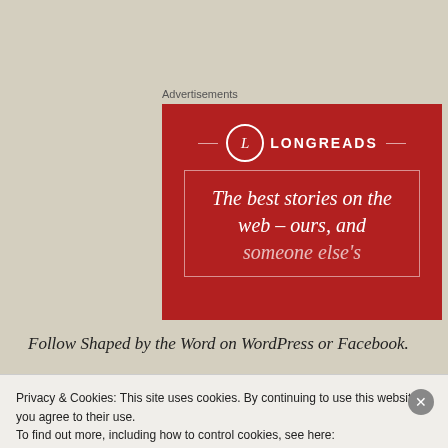[Figure (advertisement): Longreads advertisement banner with red background, circular L logo, and italic text reading 'The best stories on the web – ours, and someone else's']
Follow Shaped by the Word on WordPress or Facebook.
Privacy & Cookies: This site uses cookies. By continuing to use this website, you agree to their use.
To find out more, including how to control cookies, see here:
Cookie Policy